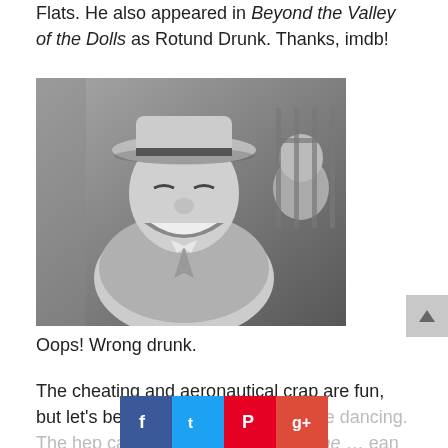Flats. He also appeared in Beyond the Valley of the Dolls as Rotund Drunk. Thanks, imdb!
[Figure (photo): Black and white photo of a heavyset man in a cowboy hat and loose suit, grinning broadly. Other men visible in the background behind bars.]
Oops! Wrong drunk.
The cheating and aeronautical crap are fun, but let's be honest. We're here for the dancing. The hep cats and swingin' dolls in The … ean rug. Why